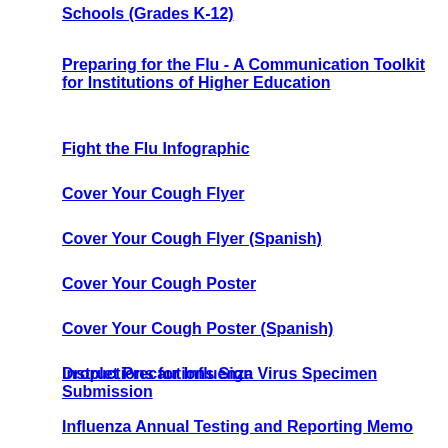Schools (Grades K-12)
Preparing for the Flu - A Communication Toolkit for Institutions of Higher Education
Fight the Flu Infographic
Cover Your Cough Flyer
Cover Your Cough Flyer (Spanish)
Cover Your Cough Poster
Cover Your Cough Poster (Spanish)
Droplet Precautions Sign
Instructions for Influenza Virus Specimen Submission
Influenza Annual Testing and Reporting Memo
2020 Influenza Guidance - Long Term Care Facilities